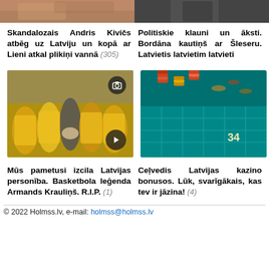[Figure (photo): Top left image - partial photo, brownish/animal tones]
[Figure (photo): Top right image - person in dark clothing]
Skandalozais Andris Kivičs atbēg uz Latviju un kopā ar Lieni atkal plikiņi vannā (305)
Politiskie klauni un āksti. Bordāna kautiņš ar Šleseru. Latvietis latvietim latvieti
[Figure (photo): Basketball team photo with players in yellow jerseys celebrating, with camera and play button icons overlay]
[Figure (photo): Casino table with poker chips stacked on green felt roulette table]
Mūs pametusi izcila Latvijas personība. Basketbola leģenda Armands Krauliņš. R.I.P. (1)
Ceļvedis Latvijas kazino bonusos. Lūk, svarīgākais, kas tev ir jāzina! (4)
© 2022 Holmss.lv, e-mail: holmss@holmss.lv